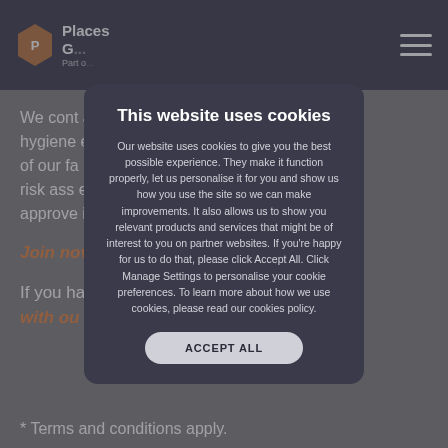Places G... (logo) — Part of ...
We cont... and hygiene... e use of our fa... ecure risk ass... ed and approve... icers.
Join nov...
If you ha... n touch with ou...
[Figure (screenshot): Cookie consent modal dialog on Places Gym website. Title: 'This website uses cookies'. Body: 'Our website uses cookies to give you the best possible experience. They make it function properly, let us personalise it for you and show us how you use the site so we can make improvements. It also allows us to show you relevant products and services that might be of interest to you on partner websites. If you're happy for us to do that, please click Accept All. Click Manage Settings to personalise your cookie preferences. To learn more about how we use cookies, please read our cookies policy.' Button: 'ACCEPT ALL']
* Terms and conditions apply.